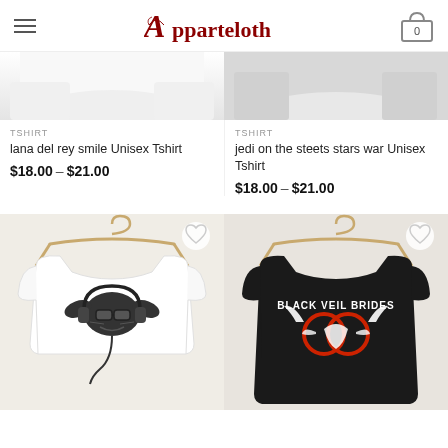Apparteloth — navigation header with hamburger menu and cart showing 0 items
[Figure (photo): Partial view of white t-shirt product (lana del rey smile) on light background]
TSHIRT
lana del rey smile Unisex Tshirt
$18.00 – $21.00
[Figure (photo): Partial view of white/grey t-shirt product (jedi on the steets stars war) on light background]
TSHIRT
jedi on the steets stars war Unisex Tshirt
$18.00 – $21.00
[Figure (photo): White t-shirt with Yoda wearing sunglasses and headphones graphic, hanging on wooden hanger against cream wall]
[Figure (photo): Black t-shirt with Black Veil Brides logo and bat wing graphic, hanging on wooden hanger against cream wall]